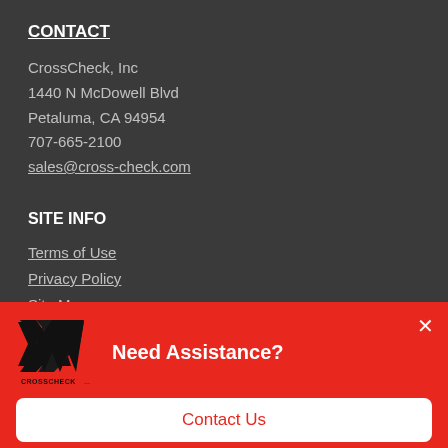CONTACT
CrossCheck, Inc
1440 N McDowell Blvd
Petaluma, CA 94954
707-665-2100
sales@cross-check.com
SITE INFO
Terms of Use
Privacy Policy
Site Map
[Figure (logo): CrossCheck Inc logo with stylized X and W mark in black on red background]
Need Assistance?
Contact Us